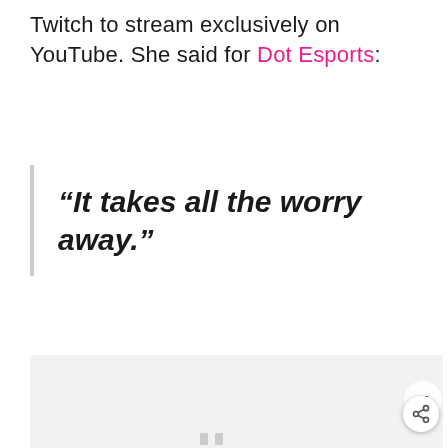Twitch to stream exclusively on YouTube. She said for Dot Esports:
“It takes all the worry away.”
[Figure (other): Gray placeholder image area at the bottom of the page with a share/social button overlay on the right side]